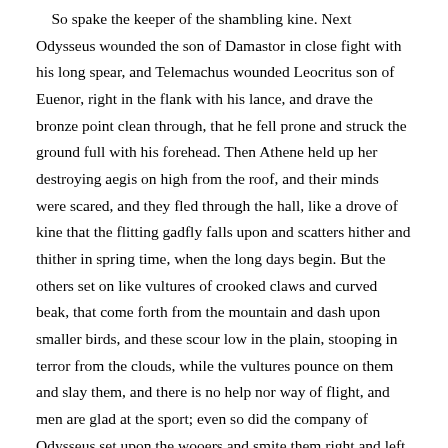So spake the keeper of the shambling kine. Next Odysseus wounded the son of Damastor in close fight with his long spear, and Telemachus wounded Leocritus son of Euenor, right in the flank with his lance, and drave the bronze point clean through, that he fell prone and struck the ground full with his forehead. Then Athene held up her destroying aegis on high from the roof, and their minds were scared, and they fled through the hall, like a drove of kine that the flitting gadfly falls upon and scatters hither and thither in spring time, when the long days begin. But the others set on like vultures of crooked claws and curved beak, that come forth from the mountain and dash upon smaller birds, and these scour low in the plain, stooping in terror from the clouds, while the vultures pounce on them and slay them, and there is no help nor way of flight, and men are glad at the sport; even so did the company of Odysseus set upon the wooers and smite them right and left through the hall; and there rose a hideous moaning as their heads were smitten, and the floor all ran with blood.